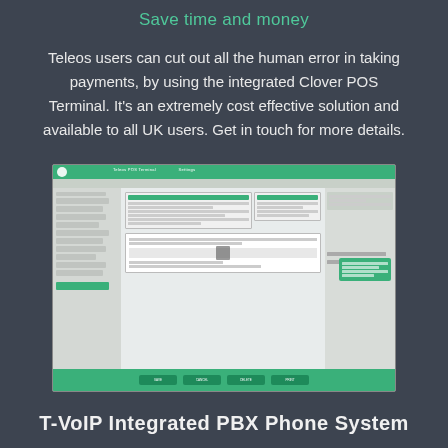Save time and money
Teleos users can cut out all the human error in taking payments, by using the integrated Clover POS Terminal. It's an extremely cost effective solution and available to all UK users. Get in touch for more details.
[Figure (screenshot): Screenshot of the Teleos POS software interface with a green header bar, form fields, left sidebar, and action buttons at the bottom.]
T-VoIP Integrated PBX Phone System